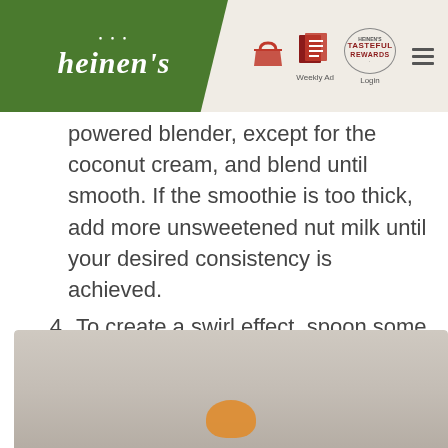heinen's | Weekly Ad | Login
powered blender, except for the coconut cream, and blend until smooth. If the smoothie is too thick, add more unsweetened nut milk until your desired consistency is achieved.
4. To create a swirl effect, spoon some of the whipped coconut cream into a drinking glass, then pour in the smoothie.
5. Top with additional coconut cream and grain-free granola, if desired.
[Figure (photo): Photo of a smoothie drink in a glass, partially visible at the bottom of the page, with a beige/taupe background and an orange/golden element at the bottom center.]